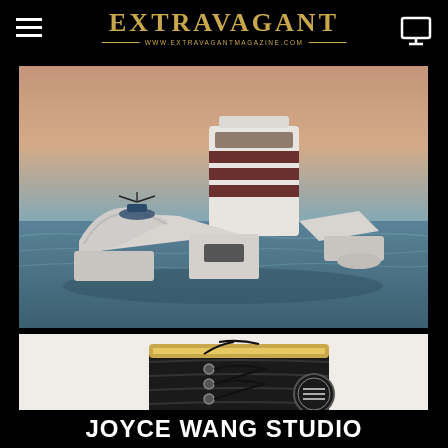EXTRAVAGANT — www.extravagantmagazine.com
[Figure (photo): Aerial/3D render of a large luxury concept yacht on the ocean with helicopter on deck and extending wing-like structures, warm sunset haze in background]
[Figure (photo): Close-up of a black glossy luxury boot/shoe with lace details and a circular logo badge on the side, with gold accents at top]
JOYCE WANG STUDIO